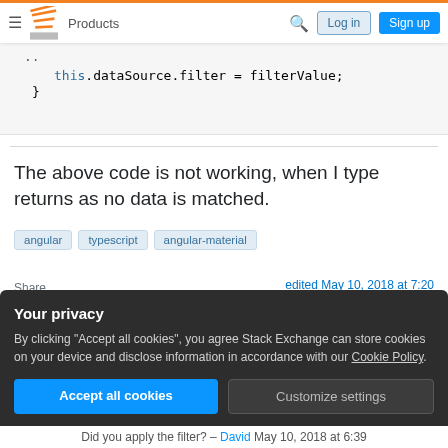≡ [Stack Overflow logo] Products 🔍 Log in Sign up
this.dataSource.filter = filterValue;
    }
The above code is not working, when I type returns as no data is matched.
angular
typescript
angular-material
Share   edited May 10, 2018 at 7:20
Improve this question
Your privacy
By clicking "Accept all cookies", you agree Stack Exchange can store cookies on your device and disclose information in accordance with our Cookie Policy.
Accept all cookies   Customize settings
Did you apply the filter? – David  May 10, 2018 at 6:39